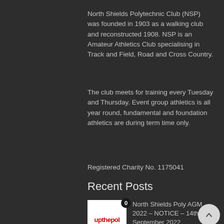North Shields Polytechnic Club (NSP) was founded in 1903 as a walking club and reconstructed 1908. NSP is an Amateur Athletics Club specialising in Track and Field, Road and Cross Country.
The club meets for training every Tuesday and Thursday. Event group athletics is all year round, fundamental and foundation athletics are during term time only.
Registered Charity No. 1175041
Recent Posts
North Shields Poly AGM 2022 – NOTICE – 14th September 2022
By North Shields Poly